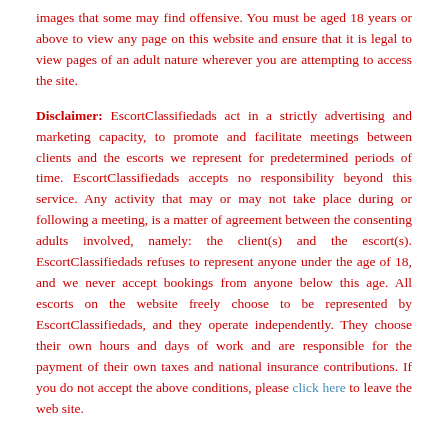images that some may find offensive. You must be aged 18 years or above to view any page on this website and ensure that it is legal to view pages of an adult nature wherever you are attempting to access the site.
Disclaimer: EscortClassifiedads act in a strictly advertising and marketing capacity, to promote and facilitate meetings between clients and the escorts we represent for predetermined periods of time. EscortClassifiedads accepts no responsibility beyond this service. Any activity that may or may not take place during or following a meeting, is a matter of agreement between the consenting adults involved, namely: the client(s) and the escort(s). EscortClassifiedads refuses to represent anyone under the age of 18, and we never accept bookings from anyone below this age. All escorts on the website freely choose to be represented by EscortClassifiedads, and they operate independently. They choose their own hours and days of work and are responsible for the payment of their own taxes and national insurance contributions. If you do not accept the above conditions, please click here to leave the web site.